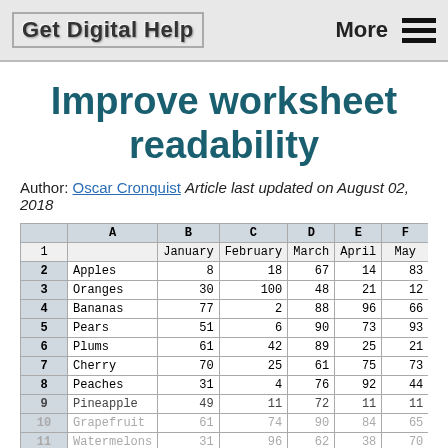Get Digital Help  More ≡
Improve worksheet readability
Author: Oscar Cronquist Article last updated on August 02, 2018
|  | A | B | C | D | E | F | G |
| --- | --- | --- | --- | --- | --- | --- | --- |
| 1 |  | January | February | March | April | May | June |
| 2 | Apples | 8 | 18 | 67 | 14 | 83 | 47 |
| 3 | Oranges | 30 | 100 | 48 | 21 | 12 | 58 |
| 4 | Bananas | 77 | 2 | 88 | 96 | 66 | 65 |
| 5 | Pears | 51 | 6 | 90 | 73 | 93 | 32 |
| 6 | Plums | 61 | 42 | 89 | 25 | 21 | 23 |
| 7 | Cherry | 70 | 25 | 61 | 75 | 73 | 23 |
| 8 | Peaches | 31 | 4 | 76 | 92 | 44 | 66 |
| 9 | Pineapple | 49 | 11 | 72 | 11 | 11 | 9 |
| 10 | Grapefruit | 61 | 74 | 90 | 84 | 65 | 62 |
| 11 | Watermelons | 31 | 96 | 62 | 38 | 70 | 46 |
| 12 | Kiwis | 37 | 37 | 16 | 28 | 46 | 61 |
| 13 | Mangos | 52 | 11 | 90 | 59 | ... | 65 |